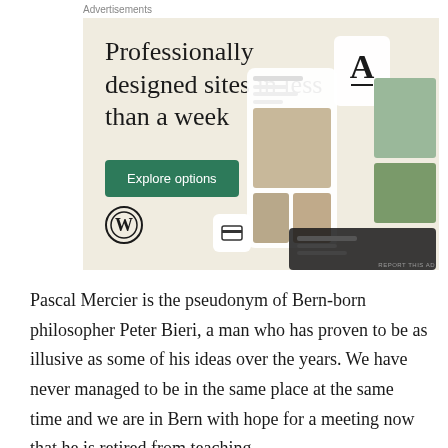Advertisements
[Figure (illustration): WordPress advertisement showing 'Professionally designed sites in less than a week' with a green 'Explore options' button, WordPress logo, and mockup of website designs on a beige/cream background. Small 'REPORT THIS AD' link at bottom right.]
Pascal Mercier is the pseudonym of Bern-born philosopher Peter Bieri, a man who has proven to be as illusive as some of his ideas over the years. We have never managed to be in the same place at the same time and we are in Bern with hope for a meeting now that he is retired from teaching.